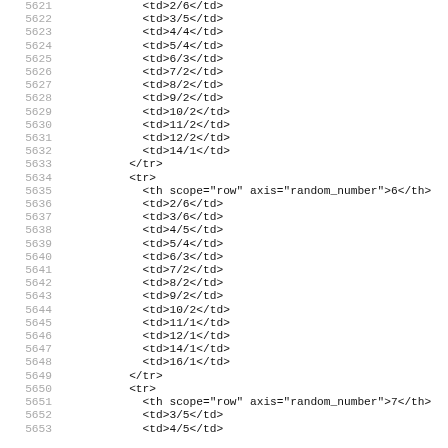Code listing lines 5621-5652+, showing HTML table markup with line numbers. Lines show <td> and <tr> elements with fraction values, and <th scope="row" axis="random_number"> elements for rows 6 and 7.